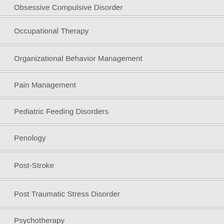Obsessive Compulsive Disorder
Occupational Therapy
Organizational Behavior Management
Pain Management
Pediatric Feeding Disorders
Penology
Post-Stroke
Post Traumatic Stress Disorder
Psychotherapy